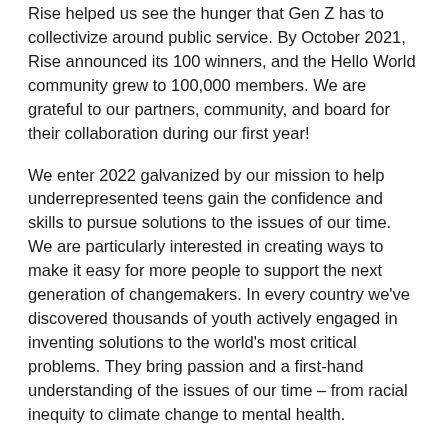Rise helped us see the hunger that Gen Z has to collectivize around public service. By October 2021, Rise announced its 100 winners, and the Hello World community grew to 100,000 members. We are grateful to our partners, community, and board for their collaboration during our first year!
We enter 2022 galvanized by our mission to help underrepresented teens gain the confidence and skills to pursue solutions to the issues of our time. We are particularly interested in creating ways to make it easy for more people to support the next generation of changemakers. In every country we've discovered thousands of youth actively engaged in inventing solutions to the world's most critical problems. They bring passion and a first-hand understanding of the issues of our time – from racial inequity to climate change to mental health.
We enter 2022 with this belief: that every emerging social entrepreneur in Gen Z should have access to the relevant capital, networks, and skills that enable them to pursue their passion for the public good in their communities and the world at large. Please consider supporting our mission to democratize access to these resources for young people